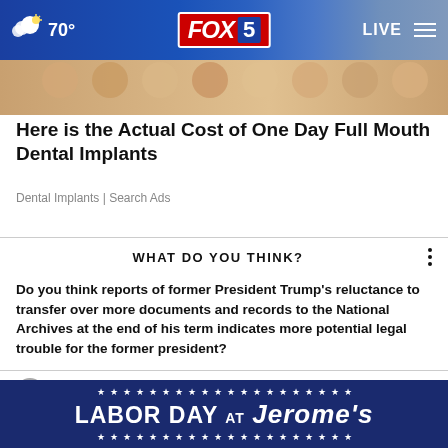70° FOX 5 LIVE
[Figure (photo): Partial image strip showing people, likely dental-related stock photo]
Here is the Actual Cost of One Day Full Mouth Dental Implants
Dental Implants | Search Ads
WHAT DO YOU THINK?
Do you think reports of former President Trump's reluctance to transfer over more documents and records to the National Archives at the end of his term indicates more potential legal trouble for the former president?
Yes, I think so
Maybe, I'm not sure
[Figure (infographic): Labor Day at Jerome's advertisement banner with stars decoration]